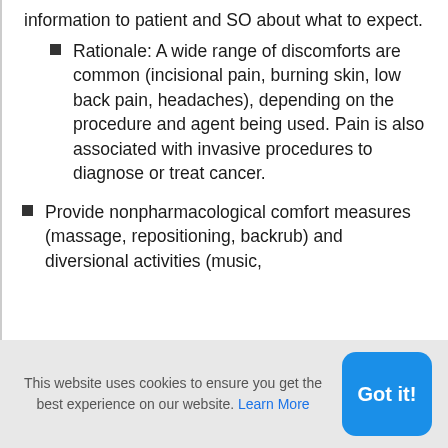information to patient and SO about what to expect.
Rationale: A wide range of discomforts are common (incisional pain, burning skin, low back pain, headaches), depending on the procedure and agent being used. Pain is also associated with invasive procedures to diagnose or treat cancer.
Provide nonpharmacological comfort measures (massage, repositioning, backrub) and diversional activities (music,
This website uses cookies to ensure you get the best experience on our website. Learn More
Got it!